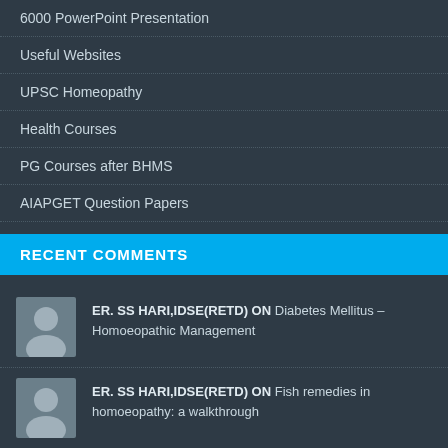6000 PowerPoint Presentation
Useful Websites
UPSC Homeopathy
Health Courses
PG Courses after BHMS
AIAPGET Question Papers
RECENT COMMENTS
ER. SS HARI,IDSE(RETD) ON Diabetes Mellitus – Homoeopathic Management
ER. SS HARI,IDSE(RETD) ON Fish remedies in homoeopathy: a walkthrough